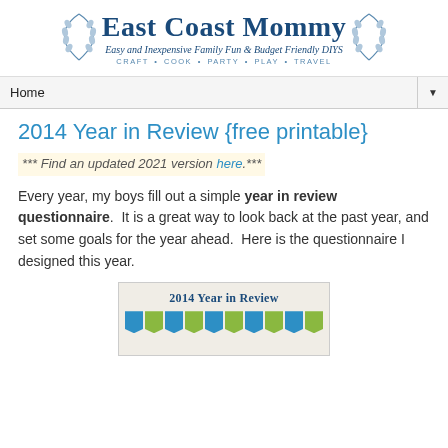[Figure (logo): East Coast Mommy blog logo with laurel wreath decoration, subtitle 'Easy and Inexpensive Family Fun & Budget Friendly DIYS', tagline 'CRAFT • COOK • PARTY • PLAY • TRAVEL']
Home ▼
2014 Year in Review {free printable}
*** Find an updated 2021 version here.***
Every year, my boys fill out a simple year in review questionnaire.  It is a great way to look back at the past year, and set some goals for the year ahead.  Here is the questionnaire I designed this year.
[Figure (illustration): Preview image of the 2014 Year in Review printable with title text and colorful banner flags in blue and green]